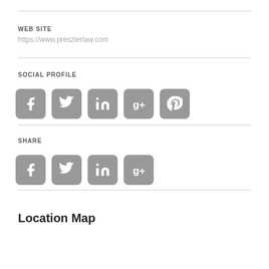WEB SITE
https://www.preszlerlaw.com
SOCIAL PROFILE
[Figure (infographic): Five social media icons: Facebook, Twitter, LinkedIn, Google+, Pinterest — all in grey rounded square boxes]
SHARE
[Figure (infographic): Four social media icons: Facebook, Twitter, LinkedIn, Google+ — all in grey rounded square boxes]
Location Map